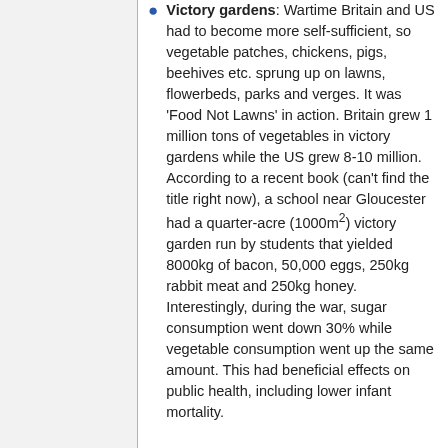Victory gardens: Wartime Britain and US had to become more self-sufficient, so vegetable patches, chickens, pigs, beehives etc. sprung up on lawns, flowerbeds, parks and verges. It was 'Food Not Lawns' in action. Britain grew 1 million tons of vegetables in victory gardens while the US grew 8-10 million. According to a recent book (can't find the title right now), a school near Gloucester had a quarter-acre (1000m²) victory garden run by students that yielded 8000kg of bacon, 50,000 eggs, 250kg rabbit meat and 250kg honey. Interestingly, during the war, sugar consumption went down 30% while vegetable consumption went up the same amount. This had beneficial effects on public health, including lower infant mortality.